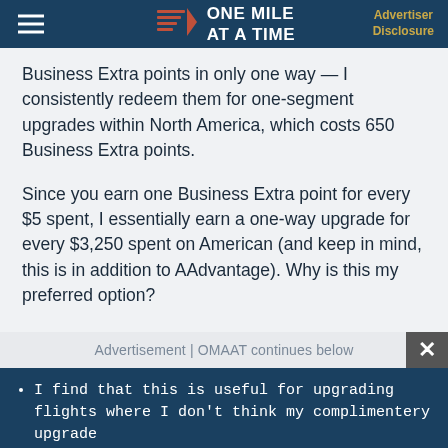ONE MILE AT A TIME | Advertiser Disclosure
Business Extra points in only one way — I consistently redeem them for one-segment upgrades within North America, which costs 650 Business Extra points.
Since you earn one Business Extra point for every $5 spent, I essentially earn a one-way upgrade for every $3,250 spent on American (and keep in mind, this is in addition to AAdvantage). Why is this my preferred option?
Advertisement | OMAAT continues below
I find that this is useful for upgrading flights where I don't think my complimentery upgrade (as an Executive Platinum member) will clear...